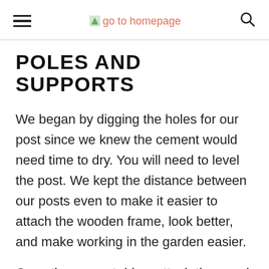go to homepage
POLES AND SUPPORTS
We began by digging the holes for our post since we knew the cement would need time to dry. You will need to level the post. We kept the distance between our posts even to make it easier to attach the wooden frame, look better, and make working in the garden easier.
Once the cement dries, attach the wood